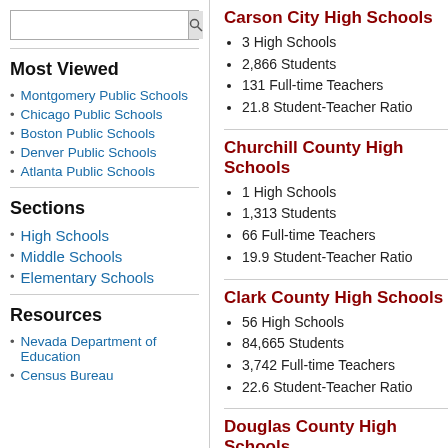Most Viewed
Montgomery Public Schools
Chicago Public Schools
Boston Public Schools
Denver Public Schools
Atlanta Public Schools
Sections
High Schools
Middle Schools
Elementary Schools
Resources
Nevada Department of Education
Census Bureau
Carson City High Schools
3 High Schools
2,866 Students
131 Full-time Teachers
21.8 Student-Teacher Ratio
Churchill County High Schools
1 High Schools
1,313 Students
66 Full-time Teachers
19.9 Student-Teacher Ratio
Clark County High Schools
56 High Schools
84,665 Students
3,742 Full-time Teachers
22.6 Student-Teacher Ratio
Douglas County High Schools
4 High Schools
1,757 Students
102 Full-time Teachers
17.2 Student-Teacher Ratio